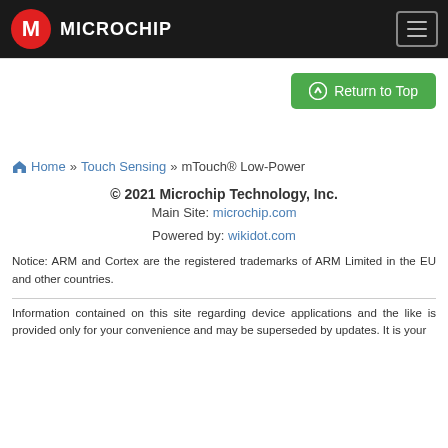Microchip
[Figure (logo): Microchip Technology logo with red circular icon and white M mark, white text MICROCHIP on dark background header bar]
Return to Top
Home » Touch Sensing » mTouch® Low-Power
© 2021 Microchip Technology, Inc.
Main Site: microchip.com
Powered by: wikidot.com
Notice: ARM and Cortex are the registered trademarks of ARM Limited in the EU and other countries.
Information contained on this site regarding device applications and the like is provided only for your convenience and may be superseded by updates. It is your